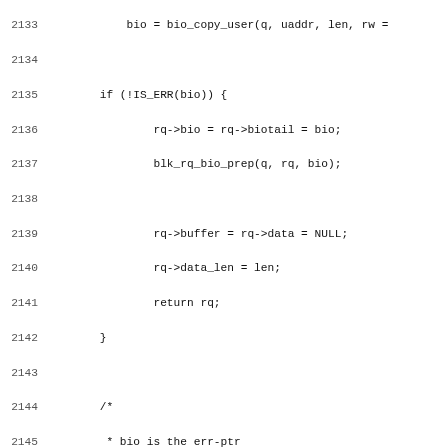[Figure (screenshot): Source code listing (C language) showing lines 2133-2164, including bio_copy_user call, IS_ERR check, blk_put_request, EXPORT_SYMBOL, and blk_rq_unmap_user function definition with kernel doc comment.]